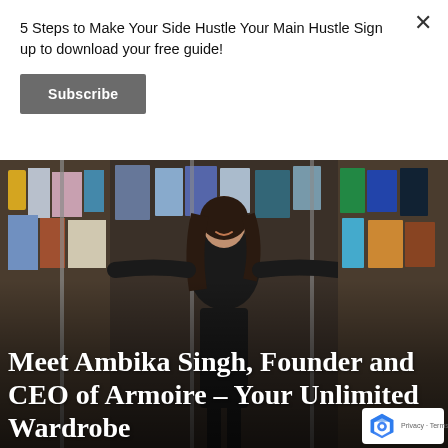5 Steps to Make Your Side Hustle Your Main Hustle Sign up to download your free guide!
Subscribe
[Figure (photo): Woman in black outfit smiling and posing with arms spread wide among clothing racks filled with colorful garments in what appears to be a clothing store or wardrobe rental facility. Overlaid text reads: Meet Ambika Singh, Founder and CEO of Armoire – Your Unlimited Wardrobe]
Meet Ambika Singh, Founder and CEO of Armoire – Your Unlimited Wardrobe